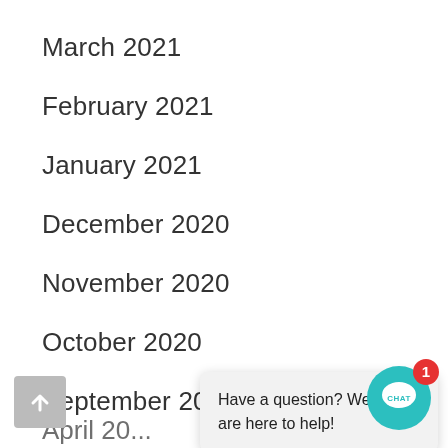March 2021
February 2021
January 2021
December 2020
November 2020
October 2020
September 2020
August 2020
May 2020
[Figure (infographic): Chat widget popup with message 'Have a question? We are here to help!' and a teal CHAT button with a red badge showing '1']